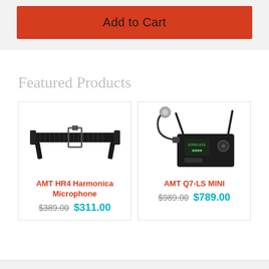Add to Cart
Featured Products
[Figure (photo): AMT HR4 Harmonica Microphone product photo showing a black metal harmonica microphone holder/cradle]
AMT HR4 Harmonica Microphone
$389.00  $311.00
[Figure (photo): AMT Q7-LS MINI product photo showing a wireless microphone system with black base unit and antennas plus a gooseneck mic]
AMT Q7-LS MINI
$989.00  $789.00